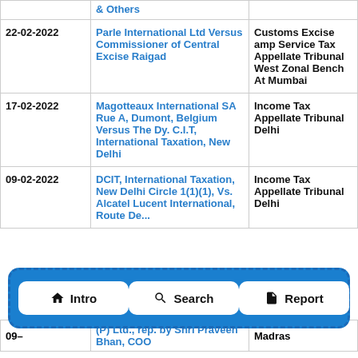| Date | Case | Court |
| --- | --- | --- |
|  | & Others |  |
| 22-02-2022 | Parle International Ltd Versus Commissioner of Central Excise Raigad | Customs Excise amp Service Tax Appellate Tribunal West Zonal Bench At Mumbai |
| 17-02-2022 | Magotteaux International SA Rue A, Dumont, Belgium Versus The Dy. C.I.T, International Taxation, New Delhi | Income Tax Appellate Tribunal Delhi |
| 09-02-2022 | DCIT, International Taxation, New Delhi Circle 1(1)(1), Vs. Alcatel Lucent International, Route De... | Income Tax Appellate Tribunal Delhi |
| 09- | (P) Ltd., rep. by Shri Praveen Bhan, COO | Madras |
[Figure (other): Navigation bar with three buttons: Intro (home icon), Search (magnifying glass icon), Report (document icon)]